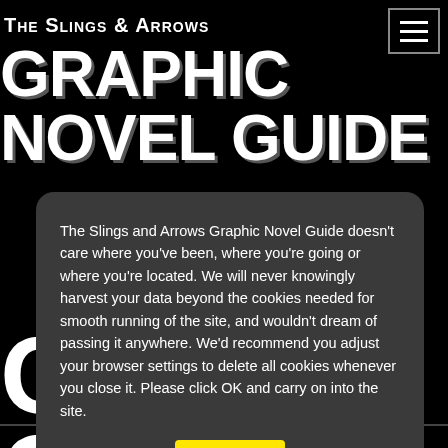The Slings & Arrows
GRAPHIC NOVEL GUIDE
The Slings and Arrows Graphic Novel Guide doesn't care where you've been, where you're going or where you're located. We will never knowingly harvest your data beyond the cookies needed for smooth running of the site, and wouldn't dream of passing it anywhere. We'd recommend you adjust your browser settings to delete all cookies whenever you close it. Please click OK and carry on into the site.